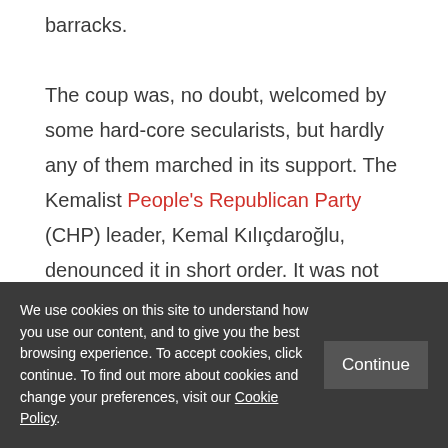barracks.

The coup was, no doubt, welcomed by some hard-core secularists, but hardly any of them marched in its support. The Kemalist People's Republican Party (CHP) leader, Kemal Kılıçdaroğlu, denounced it in short order. It was not that long ago when his predecessor on the job, Deniz Baykal, was calling the army to intervene against the
We use cookies on this site to understand how you use our content, and to give you the best browsing experience. To accept cookies, click continue. To find out more about cookies and change your preferences, visit our Cookie Policy.